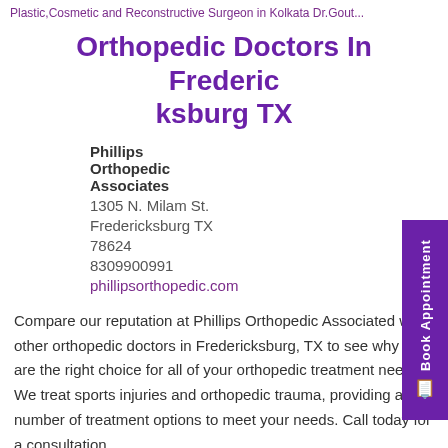Plastic,Cosmetic and Reconstructive Surgeon in Kolkata Dr.Gout...
Orthopedic Doctors In Fredericksburg TX
Phillips
Orthopedic
Associates
1305 N. Milam St.
Fredericksburg TX
78624
8309900991
phillipsorthopedic.com
Compare our reputation at Phillips Orthopedic Associated with other orthopedic doctors in Fredericksburg, TX to see why we are the right choice for all of your orthopedic treatment needs. We treat sports injuries and orthopedic trauma, providing a number of treatment options to meet your needs. Call today for a consultation.